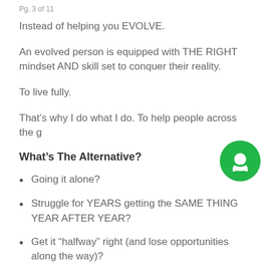Pg. 3 of 11
Instead of helping you EVOLVE.
An evolved person is equipped with THE RIGHT mindset AND skill set to conquer their reality.
To live fully.
That’s why I do what I do. To help people across the g
What’s The Alternative?
Going it alone?
Struggle for YEARS getting the SAME THING YEAR AFTER YEAR?
Get it “halfway” right (and lose opportunities along the way)?
Waste time trying to do it “your own way”?